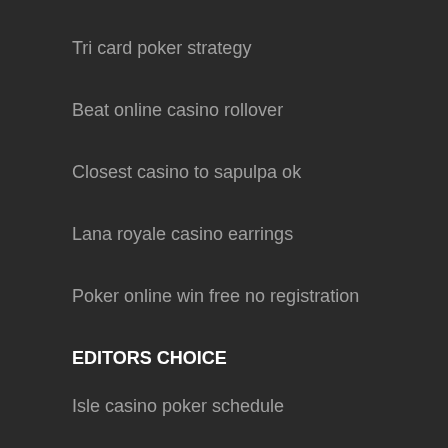Tri card poker strategy
Beat online casino rollover
Closest casino to sapulpa ok
Lana royale casino earrings
Poker online win free no registration
EDITORS CHOICE
Isle casino poker schedule
State of washington casino map
Computer slot machine games software
Casino poker bowl aix les bains